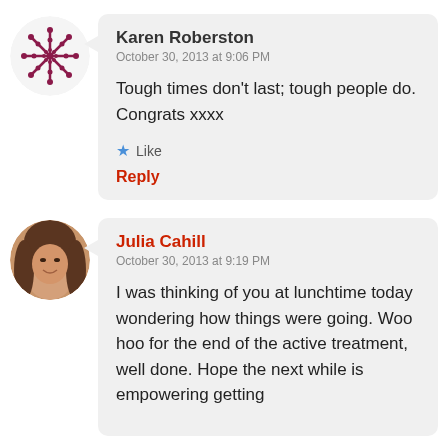Karen Roberston
October 30, 2013 at 9:06 PM
Tough times don't last; tough people do. Congrats xxxx
Like
Reply
Julia Cahill
October 30, 2013 at 9:19 PM
I was thinking of you at lunchtime today wondering how things were going. Woo hoo for the end of the active treatment, well done. Hope the next while is empowering getting